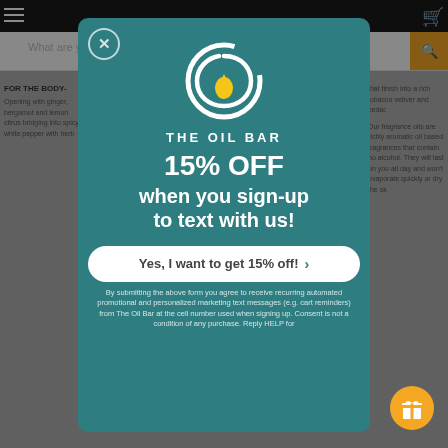[Figure (screenshot): Website background showing navigation bar, search bar, and product description text for The Oil Bar, partially obscured by a modal popup overlay]
[Figure (logo): The Oil Bar logo: white circular swirl with a yellow teardrop/oil drop in the center, above the text THE OIL BAR in white capital letters]
15% OFF when you sign-up to text with us!
Yes, I want to get 15% off! ›
By submitting the above form you agree to receive recurring automated promotional and personalized marketing text messages (e.g. cart reminders) from The Oil Bar at the cell number used when signing up. Consent is not a condition of any purchase. Reply HELP for